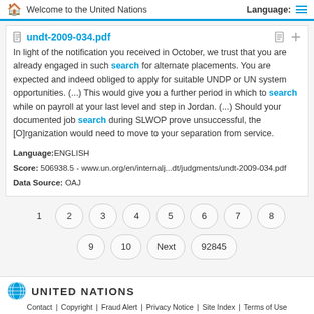Welcome to the United Nations | Language:
undt-2009-034.pdf
In light of the notification you received in October, we trust that you are already engaged in such search for alternate placements. You are expected and indeed obliged to apply for suitable UNDP or UN system opportunities. (...) This would give you a further period in which to search while on payroll at your last level and step in Jordan. (...) Should your documented job search during SLWOP prove unsuccessful, the [O]rganization would need to move to your separation from service.
Language:ENGLISH
Score: 506938.5 - www.un.org/en/internalj...dt/judgments/undt-2009-034.pdf
Data Source: OAJ
1
2
3
4
5
6
7
8
9
10
Next
92845
UNITED NATIONS | Contact | Copyright | Fraud Alert | Privacy Notice | Site Index | Terms of Use